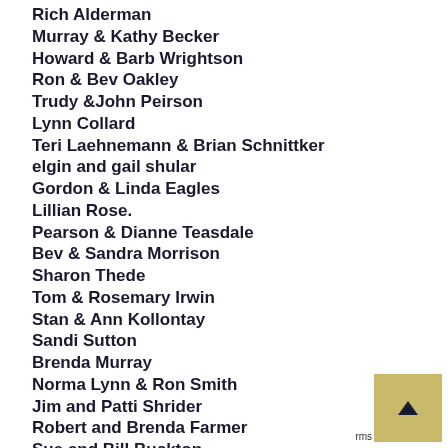Rich Alderman
Murray & Kathy Becker
Howard & Barb Wrightson
Ron & Bev Oakley
Trudy &John Peirson
Lynn Collard
Teri Laehnemann & Brian Schnittker
elgin and gail shular
Gordon & Linda Eagles
Lillian Rose.
Pearson & Dianne Teasdale
Bev & Sandra Morrison
Sharon Thede
Tom & Rosemary Irwin
Stan & Ann Kollontay
Sandi Sutton
Brenda Murray
Norma Lynn & Ron Smith
Jim and Patti Shrider
Robert and Brenda Farmer
Sue and Bill Buckton
Garry & Kathleen Scott
Wayne & Vicki Anderson